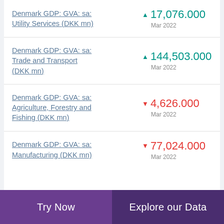Denmark GDP: GVA: sa: Utility Services (DKK mn)
Denmark GDP: GVA: sa: Trade and Transport (DKK mn)
Denmark GDP: GVA: sa: Agriculture, Forestry and Fishing (DKK mn)
Denmark GDP: GVA: sa: Manufacturing (DKK mn)
Try Now | Explore our Data